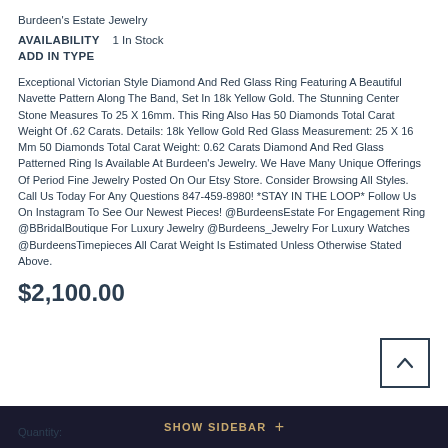Burdeen's Estate Jewelry
AVAILABILITY    1 In Stock
ADD IN TYPE
Exceptional Victorian Style Diamond And Red Glass Ring Featuring A Beautiful Navette Pattern Along The Band, Set In 18k Yellow Gold. The Stunning Center Stone Measures To 25 X 16mm. This Ring Also Has 50 Diamonds Total Carat Weight Of .62 Carats. Details: 18k Yellow Gold Red Glass Measurement: 25 X 16 Mm 50 Diamonds Total Carat Weight: 0.62 Carats Diamond And Red Glass Patterned Ring Is Available At Burdeen's Jewelry. We Have Many Unique Offerings Of Period Fine Jewelry Posted On Our Etsy Store. Consider Browsing All Styles. Call Us Today For Any Questions 847-459-8980! *STAY IN THE LOOP* Follow Us On Instagram To See Our Newest Pieces! @BurdeensEstate For Engagement Ring @BBridalBoutique For Luxury Jewelry @Burdeens_Jewelry For Luxury Watches @BurdeensTimepieces All Carat Weight Is Estimated Unless Otherwise Stated Above.
$2,100.00
SHOW SIDEBAR +
Quantity: